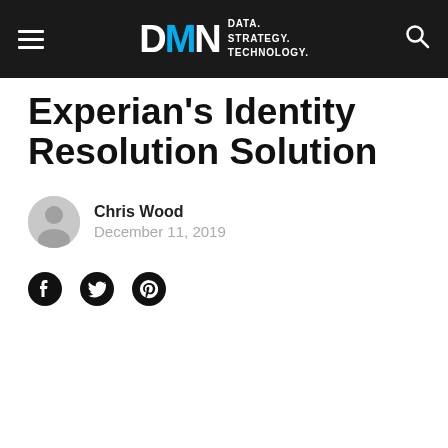DMN — DATA. STRATEGY. TECHNOLOGY.
Experian's Identity Resolution Solution
Chris Wood
December 11, 2019
[Figure (other): Social share icons: Facebook, Twitter, Pinterest]